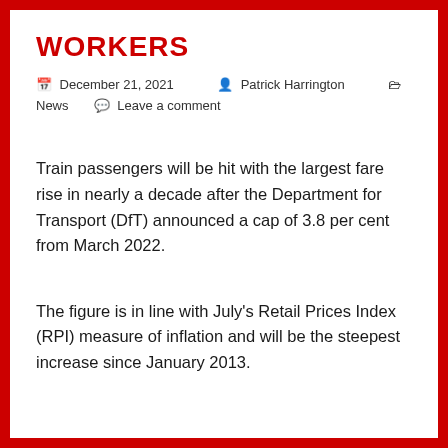WORKERS
December 21, 2021   Patrick Harrington   News   Leave a comment
Train passengers will be hit with the largest fare rise in nearly a decade after the Department for Transport (DfT) announced a cap of 3.8 per cent from March 2022.
The figure is in line with July's Retail Prices Index (RPI) measure of inflation and will be the steepest increase since January 2013.